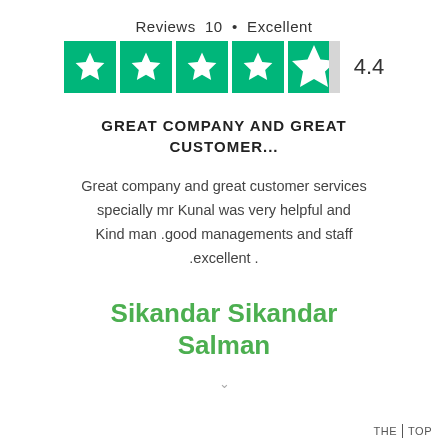[Figure (other): Trustpilot rating widget showing 'Reviews 10 • Excellent' with 4.4 out of 5 stars (4 full green stars and 1 partial star), rating number 4.4]
GREAT COMPANY AND GREAT CUSTOMER...
Great company and great customer services specially mr Kunal was very helpful and Kind man .good managements and staff .excellent .
Sikandar Sikandar Salman
THE | TOP